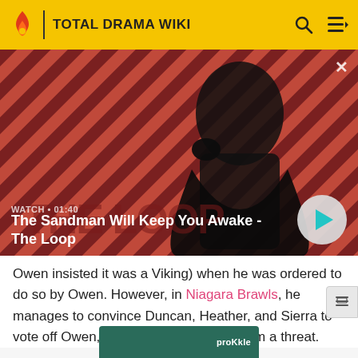TOTAL DRAMA WIKI
[Figure (screenshot): Video thumbnail for 'The Sandman Will Keep You Awake - The Loop' with a dark-clad figure against a red diagonal-striped background. Shows WATCH • 01:40 label and a play button.]
Owen insisted it was a Viking) when he was ordered to do so by Owen. However, in Niagara Brawls, he manages to convince Duncan, Heather, and Sierra to vote off Owen, as his popularity made him a threat.
[Figure (screenshot): Bottom partial image strip showing a teal/green background with 'proKkle' text visible]